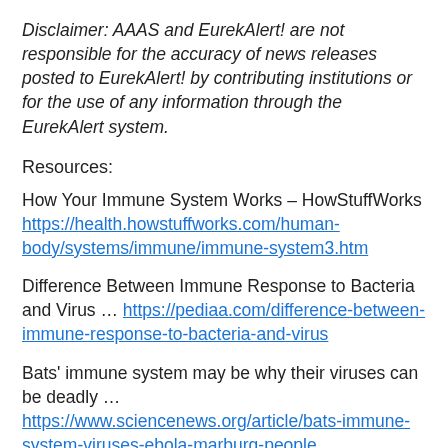Disclaimer: AAAS and EurekAlert! are not responsible for the accuracy of news releases posted to EurekAlert! by contributing institutions or for the use of any information through the EurekAlert system.
Resources:
How Your Immune System Works – HowStuffWorks https://health.howstuffworks.com/human-body/systems/immune/immune-system3.htm
Difference Between Immune Response to Bacteria and Virus … https://pediaa.com/difference-between-immune-response-to-bacteria-and-virus
Bats' immune system may be why their viruses can be deadly … https://www.sciencenews.org/article/bats-immune-system-viruses-ebola-marburg-people